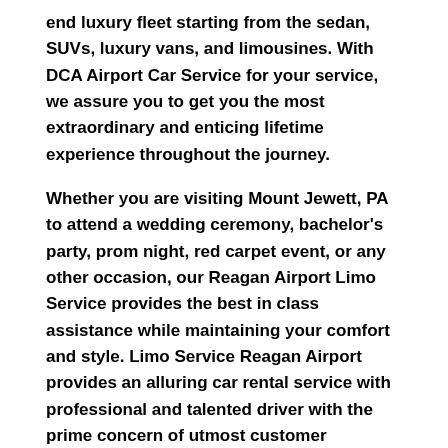end luxury fleet starting from the sedan, SUVs, luxury vans, and limousines. With DCA Airport Car Service for your service, we assure you to get you the most extraordinary and enticing lifetime experience throughout the journey.
Whether you are visiting Mount Jewett, PA to attend a wedding ceremony, bachelor's party, prom night, red carpet event, or any other occasion, our Reagan Airport Limo Service provides the best in class assistance while maintaining your comfort and style. Limo Service Reagan Airport provides an alluring car rental service with professional and talented driver with the prime concern of utmost customer satisfaction and integrity.